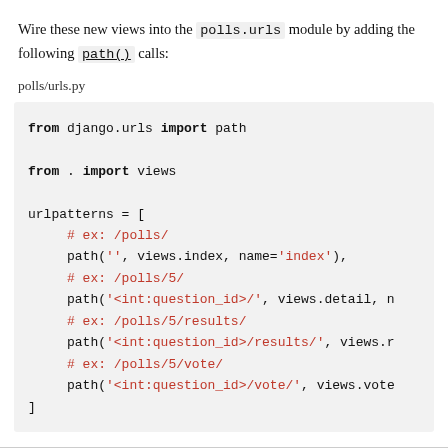Wire these new views into the polls.urls module by adding the following path() calls:
polls/urls.py
[Figure (screenshot): Python code block showing polls/urls.py content with from django.urls import path, from . import views, and urlpatterns list with path() calls for index, detail, results, and vote views]